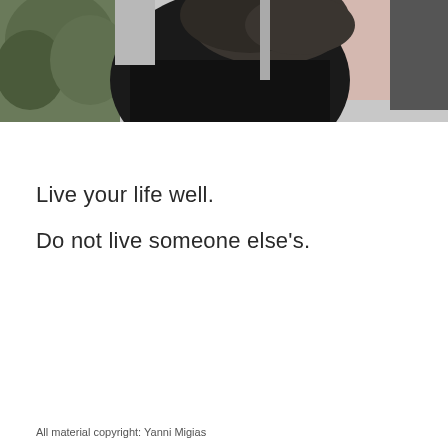[Figure (photo): Black and white/grayscale photo showing a person in a dark jacket with blurred foliage and building in background, cropped at the top of the page]
Live your life well.
Do not live someone else's.
All material copyright: Yanni Migias